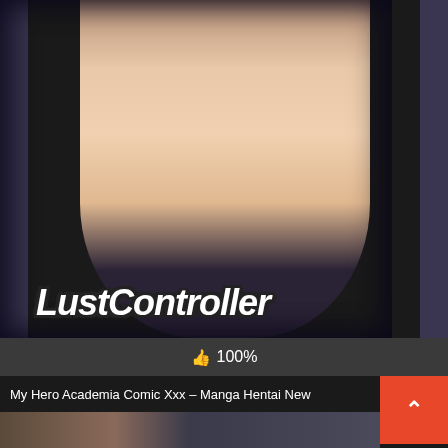[Figure (illustration): Anime-style illustration with 'Lust Controller' text overlay on dark background]
👍 100%
My Hero Academia Comic Xxx – Manga Hentai New
[Figure (illustration): Partial view of another anime illustration at bottom of page]